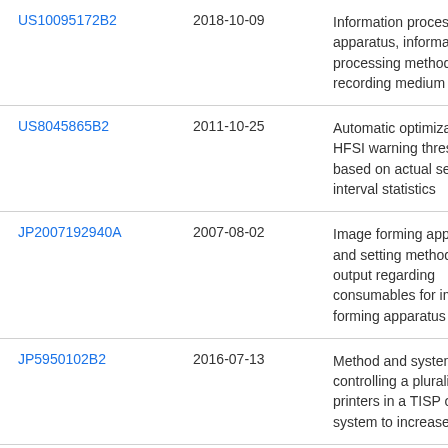| US10095172B2 | 2018-10-09 | Information processing apparatus, information processing method, and recording medium |
| US8045865B2 | 2011-10-25 | Automatic optimization of HFSI warning thresholds based on actual service interval statistics |
| JP2007192940A | 2007-08-02 | Image forming apparatus and setting method for output regarding consumables for image forming apparatus |
| JP5950102B2 | 2016-07-13 | Method and system for controlling a plurality of printers in a TISP or TIPP system to increase stability |
| US7228080B2 | 2007-06-05 | System for active toner concentration target adjustments and method to maintain |